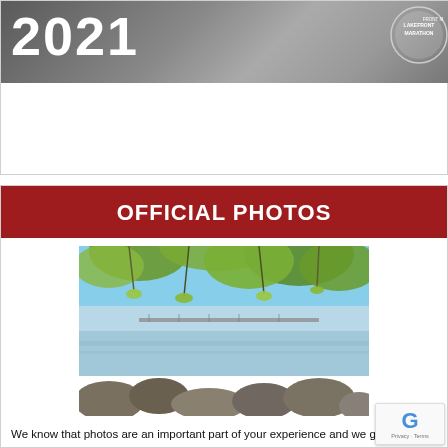[Figure (illustration): Top banner with large bold white text '2021' on rocky mountain background with partial circular seal/logo in upper right corner]
OFFICIAL PHOTOS
[Figure (photo): Outdoor nature photo showing a lake or river view framed by yellow-green autumn tree leaves hanging from above, with rocks in the foreground and a bridge visible in the background under a blue sky]
We know that photos are an important part of your experience and we got some great shots of you to celebrate your accomplishments. Check out the site and download as many photos as you like courtesy of the Milwaukee Lakefront Marathon.